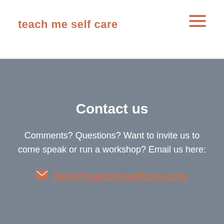teach me self care
Contact us
Comments? Questions? Want to invite us to come speak or run a workshop? Email us here:
hello@teachmeselfcare.com